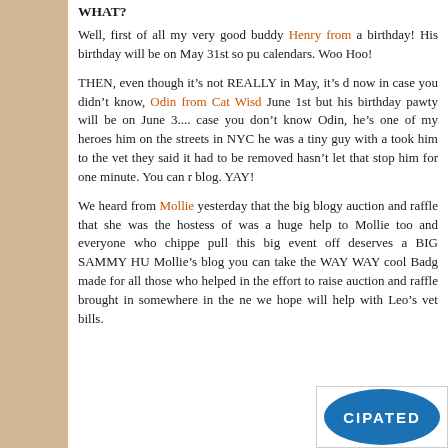WHAT?
Well, first of all my very good buddy Henry from a birthday!  His birthday will be on May 31st so pu calendars.   Woo Hoo!
THEN, even though it’s not REALLY in May, it’s d now in case you didn’t know, Odin from Cat Wisd June 1st but his birthday pawty will be on June 3.... case you don’t know Odin, he’s one of my heroes him on the streets in NYC he was a tiny guy with a took him to the vet they said it had to be removed hasn’t let that stop him for one minute.  You can r blog.   YAY!
We heard from Mollie yesterday that the big blogy auction and raffle that she was the hostess of was a huge help to Mollie too and everyone who chippe pull this big event off deserves a BIG SAMMY HU Mollie’s blog you can take the WAY WAY cool Badg made for all those who helped in the effort to raise auction and raffle brought in somewhere in the ne we hope will help with Leo’s vet bills.
[Figure (logo): Partial circular badge/logo with text CIPATED visible on blue background]